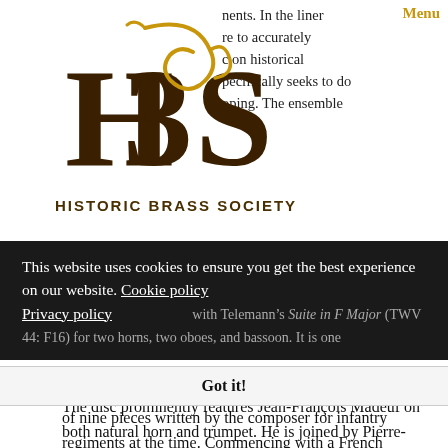[Figure (logo): Historic Brass Society logo with stylized HBS letters in brown/gold and text 'HISTORIC BRASS SOCIETY' below]
nents. In the liner re to accurately c on historical pecifically seeks to do oping. The ensemble
explains that they also wish to recreate “all of the original flavour of the music’s regimental and military origins.”
The disc prominently features Jean-François Madeuf on both natural horn and trumpet. He is joined by Pierre-Yves Madeuf (horn), Elsa Franck (oboe), Johanne Maitre (oboe), Jérémie Papasergio (bassoon), Elizabeth Geiger (harpsichord), Philippe Canguilhem (oboe), and Jean
This website uses cookies to ensure you get the best experience on our website. Cookie policy Privacy policy
Got it!
with Telemann’s Suite in F Major (TWV 44: F16) for two horns, two oboes, and bassoon. It is one of nine pieces written by the composer for infantry regiments at the time. Commencing with a French